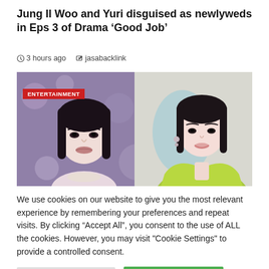Jung Il Woo and Yuri disguised as newlyweds in Eps 3 of Drama ‘Good Job’
3 hours ago   jasabacklink
[Figure (photo): Two female celebrities side by side. Left image has an ENTERTAINMENT badge in red. Right image shows a woman in a yellow-green outfit.]
We use cookies on our website to give you the most relevant experience by remembering your preferences and repeat visits. By clicking “Accept All”, you consent to the use of ALL the cookies. However, you may visit "Cookie Settings" to provide a controlled consent.
Cookie Settings   Accept All